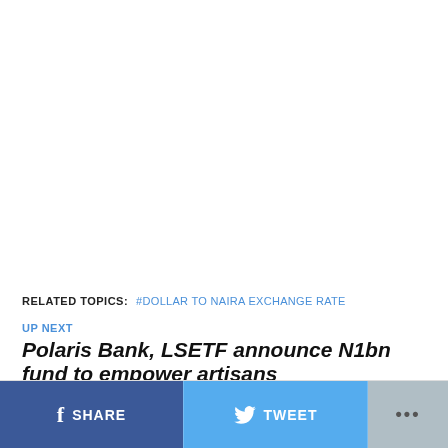RELATED TOPICS: #DOLLAR TO NAIRA EXCHANGE RATE
UP NEXT
Polaris Bank, LSETF announce N1bn fund to empower artisans
DON'T MISS
Dollar To Naira Exchange Rate For 18th May 2022
SHARE   TWEET   ...